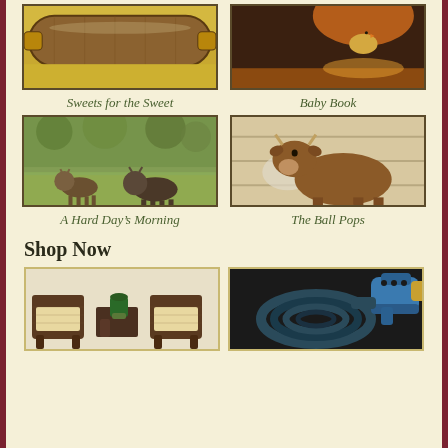[Figure (photo): Rolling pin on yellow dough - Sweets for the Sweet]
Sweets for the Sweet
[Figure (photo): Baby chick under heat lamp - Baby Book]
Baby Book
[Figure (photo): Goats in a field - A Hard Day's Morning]
A Hard Day's Morning
[Figure (photo): Brown goat lying down - The Ball Pops]
The Ball Pops
Shop Now
[Figure (photo): Outdoor rattan furniture set with chairs and plant]
[Figure (photo): Expandable garden hose with blue nozzle]